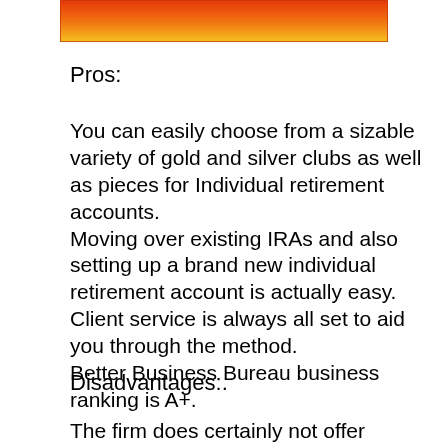[Figure (illustration): Orange-to-yellow gradient rectangular banner/bar at the top of the page]
Pros:
You can easily choose from a sizable variety of gold and silver clubs as well as pieces for Individual retirement accounts.
Moving over existing IRAs and also setting up a brand new individual retirement account is actually easy.
Client service is always all set to aid you through the method.
Better Business Bureau business ranking is A+.
Disadvantages:.
The firm does certainly not offer platinum